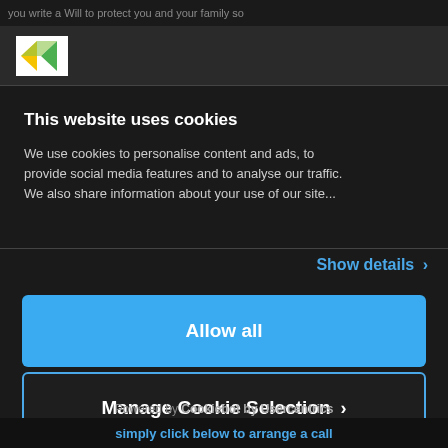you write a Will to protect you and your family so
[Figure (logo): Company logo with green and yellow triangular arrow shapes]
This website uses cookies
We use cookies to personalise content and ads, to provide social media features and to analyse our traffic. We also share information about your use of our site...
Show details >
Allow all
Manage Cookie Selection >
Powered by Cookiebot by Usercentrics
simply click below to arrange a call